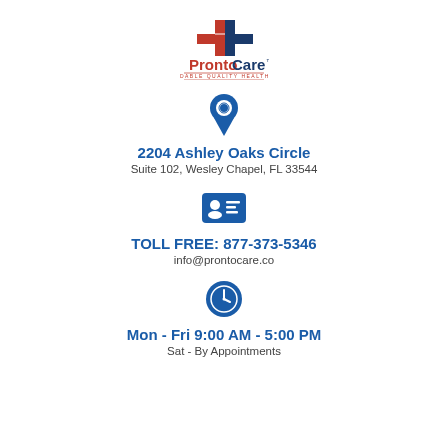[Figure (logo): ProntoCare logo with red and blue medical cross symbol and text 'ProntoCare™ AFFORDABLE QUALITY HEALTH CARE']
[Figure (illustration): Blue map pin / location icon]
2204 Ashley Oaks Circle
Suite 102, Wesley Chapel, FL 33544
[Figure (illustration): Blue contact card icon]
TOLL FREE: 877-373-5346
info@prontocare.co
[Figure (illustration): Blue clock icon]
Mon - Fri 9:00 AM - 5:00 PM
Sat - By Appointments